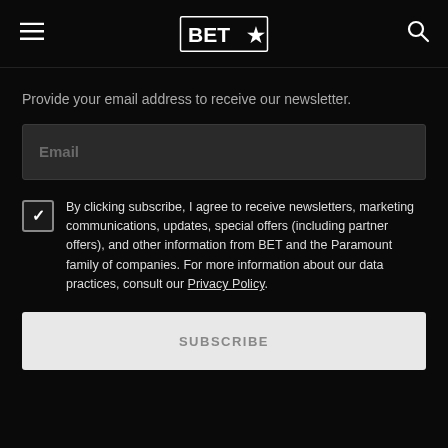BET★ logo with menu and search icons
Provide your email address to receive our newsletter.
Email
By clicking subscribe, I agree to receive newsletters, marketing communications, updates, special offers (including partner offers), and other information from BET and the Paramount family of companies. For more information about our data practices, consult our Privacy Policy.
SUBSCRIBE